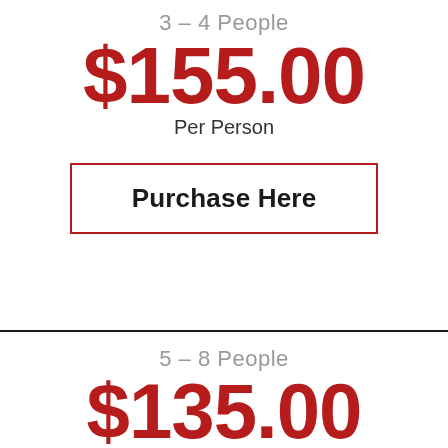3 – 4 People
$155.00
Per Person
Purchase Here
5 – 8 People
$135.00